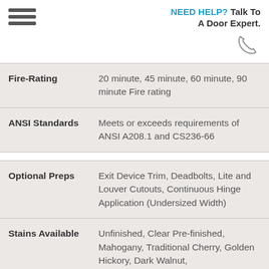NEED HELP? Talk To A Door Expert.
| Property | Value |
| --- | --- |
| Fire-Rating | 20 minute, 45 minute, 60 minute, 90 minute Fire rating |
| ANSI Standards | Meets or exceeds requirements of ANSI A208.1 and CS236-66 |
| Optional Preps | Exit Device Trim, Deadbolts, Lite and Louver Cutouts, Continuous Hinge Application (Undersized Width) |
| Stains Available | Unfinished, Clear Pre-finished, Mahogany, Traditional Cherry, Golden Hickory, Dark Walnut, |